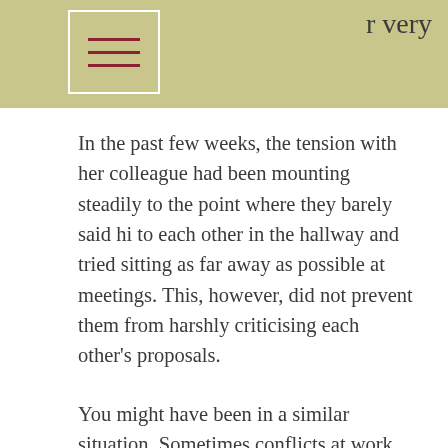r very
[Figure (illustration): Hamburger menu icon — three horizontal dark red lines inside a white-bordered rectangle on an olive/khaki green background bar]
In the past few weeks, the tension with her colleague had been mounting steadily to the point where they barely said hi to each other in the hallway and tried sitting as far away as possible at meetings. This, however, did not prevent them from harshly criticising each other's proposals.
You might have been in a similar situation. Sometimes conflicts at work get so out of hand that you might even start dreading to go to work, or attending certain meetings, or having to work with a particular person. Unfortunately, most of us notice